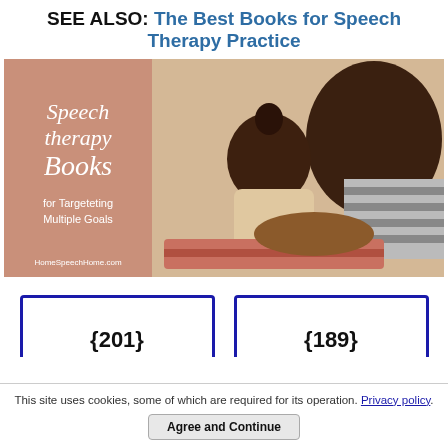SEE ALSO: The Best Books for Speech Therapy Practice
[Figure (photo): Promotional image showing a woman and a young child reading a book together, with overlay text reading 'Speech therapy Books for Targeteting Multiple Goals' and 'HomeSpeechHome.com']
{201}
{189}
This site uses cookies, some of which are required for its operation. Privacy policy.
Agree and Continue